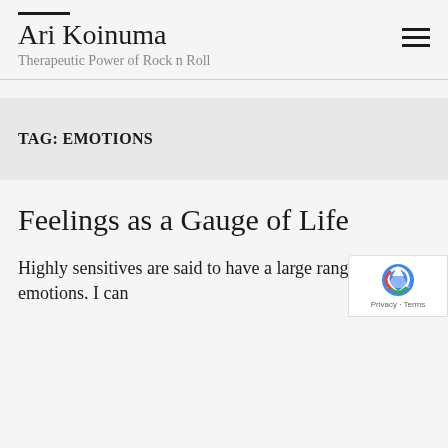Ari Koinuma
Therapeutic Power of Rock n Roll
TAG: EMOTIONS
Feelings as a Gauge of Life
Highly sensitives are said to have a large range of emotions. I can